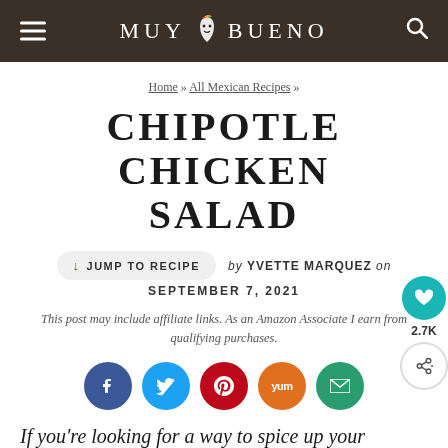MUY BUENO
Home » All Mexican Recipes »
CHIPOTLE CHICKEN SALAD
↓ JUMP TO RECIPE  by YVETTE MARQUEZ on SEPTEMBER 7, 2021
This post may include affiliate links. As an Amazon Associate I earn from qualifying purchases.
[Figure (other): Social sharing icons: Facebook, Twitter, Pinterest, Yummly, Email]
If you're looking for a way to spice up your lunchtime routine, you need to give this